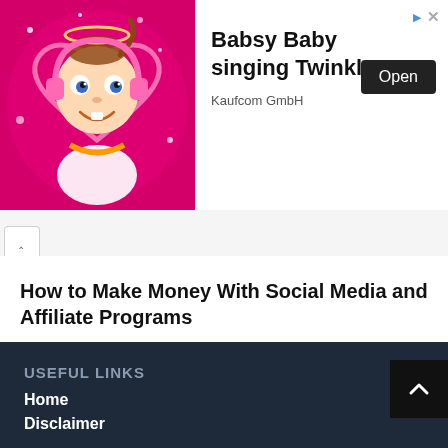[Figure (screenshot): Advertisement banner showing a cartoon Babsy Baby character on a pink glittery background with heart shape. Shows 'Babsy Baby singing Twinkle' text, Kaufcom GmbH company name, and Open button. Has ad icons (triangle and X) in top right.]
How to Make Money With Social Media and Affiliate Programs
January 8, 2022
USEFUL LINKS
Home
Disclaimer